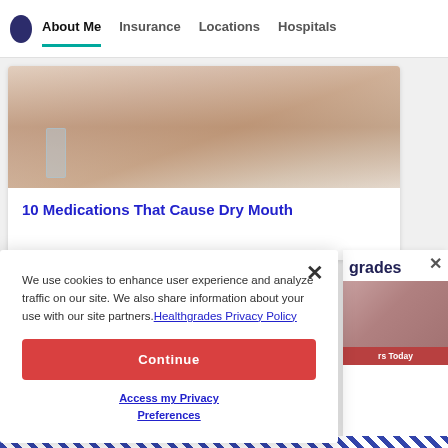About Me | Insurance | Locations | Hospitals
[Figure (photo): Close-up photo of a person drinking water from a glass, related to dry mouth medication article]
10 Medications That Cause Dry Mouth
We use cookies to enhance user experience and analyze traffic on our site. We also share information about your use with our site partners. Healthgrades Privacy Policy
Continue
Access my Privacy Preferences